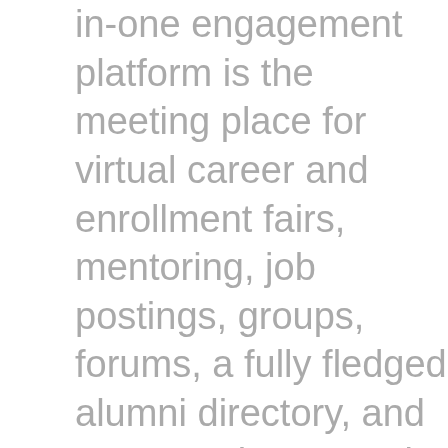in-one engagement platform is the meeting place for virtual career and enrollment fairs, mentoring, job postings, groups, forums, a fully fledged alumni directory, and more. An innovator in the rapidly growing student success space, Firsthand makes it easy to connect applicants, students, and recent graduates with student ambassadors, alumni mentors, and career coaches from Firsthand's network of 10K+ working professionals. Connections made